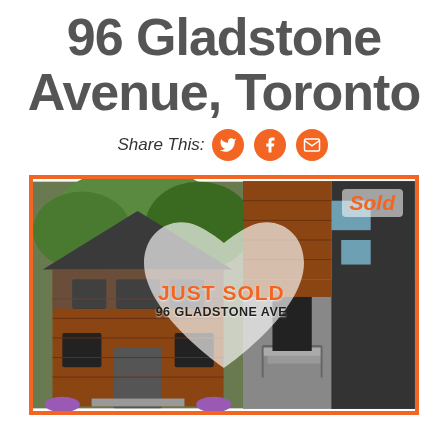96 Gladstone Avenue, Toronto
Share This:
[Figure (photo): Real estate listing composite image showing a brick townhouse on the left, a modern building entrance on the right, with a heart-shaped overlay in the center displaying 'JUST SOLD' and '96 GLADSTONE AVE'. A 'Sold' badge appears in the upper right area. The image has an orange border.]